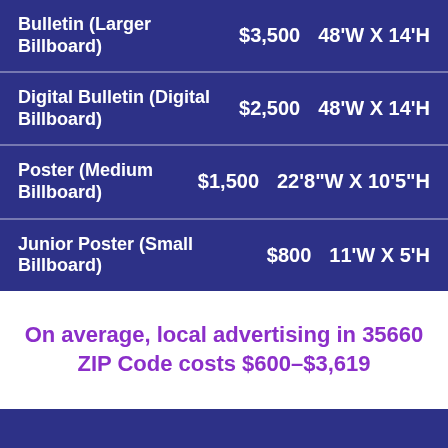| Billboard Type | Price | Size |
| --- | --- | --- |
| Bulletin (Larger Billboard) | $3,500 | 48'W X 14'H |
| Digital Bulletin (Digital Billboard) | $2,500 | 48'W X 14'H |
| Poster (Medium Billboard) | $1,500 | 22'8"W X 10'5"H |
| Junior Poster (Small Billboard) | $800 | 11'W X 5'H |
On average, local advertising in 35660 ZIP Code costs $600–$3,619